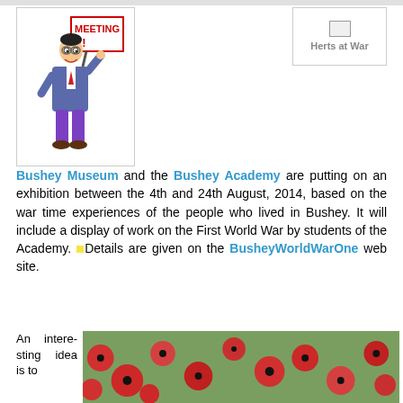[Figure (illustration): Cartoon businessman holding a 'MEETING!!' sign]
[Figure (illustration): Herts at War logo/image placeholder with text 'Herts at War']
Bushey Museum and the Bushey Academy are putting on an exhibition between the 4th and 24th August, 2014, based on the war time experiences of the people who lived in Bushey. It will include a display of work on the First World War by students of the Academy. Details are given on the BusheyWorldWarOne web site.
An interesting idea is to
[Figure (photo): Photo of poppy field with circular overlay text reading 'A Serviceman Who Died in']